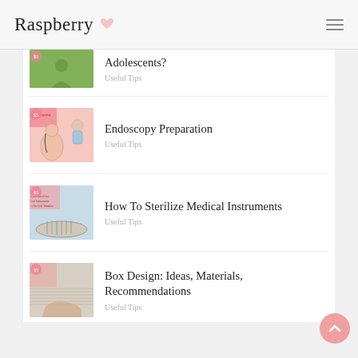Raspberry
Adolescents?
Useful Tips
Endoscopy Preparation
Useful Tips
How To Sterilize Medical Instruments
Useful Tips
Box Design: Ideas, Materials, Recommendations
Useful Tips